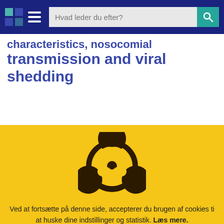Hvad leder du efter? [search bar with navigation]
characteristics, nosocomial transmission and viral shedding
[Figure (illustration): Biohazard symbol in dark brown/black on yellow background]
Ved at fortsætte på denne side, accepterer du brugen af cookies ti at huske dine indstillinger og statistik. Læs mere.
OK